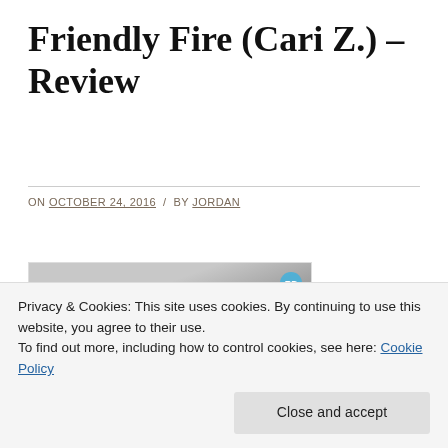Friendly Fire (Cari Z.) – Review
ON OCTOBER 24, 2016  /  BY JORDAN
[Figure (photo): Book cover image for Friendly Fire by Cari Z., showing a dark stylized figure with flowing hair against a grey background, with colorful text at the bottom and a small publisher badge in the top right corner.]
Title: Friendly
Privacy & Cookies: This site uses cookies. By continuing to use this website, you agree to their use.
To find out more, including how to control cookies, see here: Cookie Policy